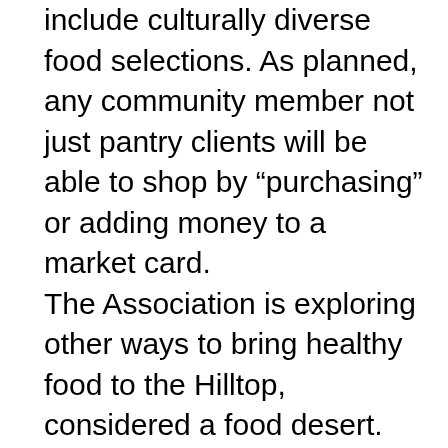include culturally diverse food selections. As planned, any community member not just pantry clients will be able to shop by "purchasing" or adding money to a market card.
The Association is exploring other ways to bring healthy food to the Hilltop, considered a food desert.
One option the new center includes, is a space for a café. In addition to providing a space for people to learn more about healthy food options. The café is also seen potentially as a workforce investment opportunity for youth job creation.
The Association continues to provide case manager services, such as utility assistance and rent rebates, in South Side through space in the South Side Presbyterian Church, 1926 Sarah Street. The Neighborhood Employment Center on E. Warrington Avenue offers the same services in addition to job